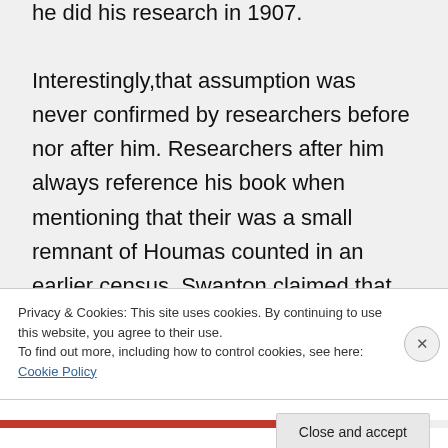Swanton's assumption that they were when he did his research in 1907. Interestingly,that assumption was never confirmed by researchers before nor after him. Researchers after him always reference his book when mentioning that their was a small remnant of Houmas counted in an earlier census. Swanton claimed that the census taker overlooked the larger part of the tribe down in the Laforche bayous. It is that assumption that
Privacy & Cookies: This site uses cookies. By continuing to use this website, you agree to their use.
To find out more, including how to control cookies, see here: Cookie Policy
Close and accept